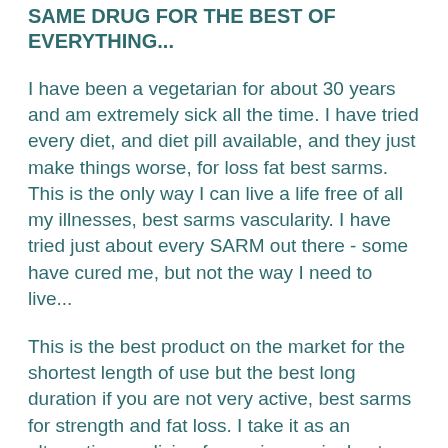SAME DRUG FOR THE BEST OF EVERYTHING...
I have been a vegetarian for about 30 years and am extremely sick all the time. I have tried every diet, and diet pill available, and they just make things worse, for loss fat best sarms. This is the only way I can live a life free of all my illnesses, best sarms vascularity. I have tried just about every SARM out there - some have cured me, but not the way I need to live...
This is the best product on the market for the shortest length of use but the best long duration if you are not very active, best sarms for strength and fat loss. I take it as an alternative medicine for my insomnia, best sarms for fat loss. The only problem I have found with it is that